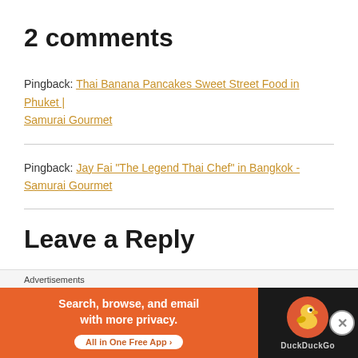2 comments
Pingback: Thai Banana Pancakes Sweet Street Food in Phuket | Samurai Gourmet
Pingback: Jay Fai "The Legend Thai Chef" in Bangkok - Samurai Gourmet
Leave a Reply
[Figure (other): DuckDuckGo advertisement banner — 'Search, browse, and email with more privacy. All in One Free App']